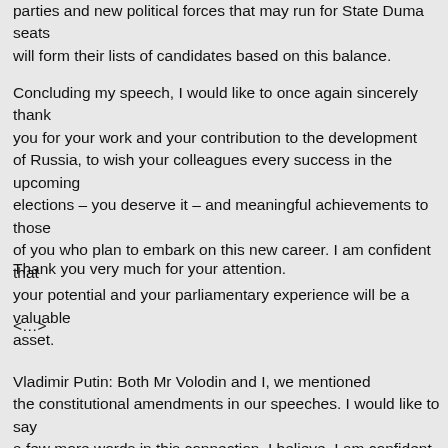parties and new political forces that may run for State Duma seats will form their lists of candidates based on this balance.
Concluding my speech, I would like to once again sincerely thank you for your work and your contribution to the development of Russia, to wish your colleagues every success in the upcoming elections – you deserve it – and meaningful achievements to those of you who plan to embark on this new career. I am confident that your potential and your parliamentary experience will be a valuable asset.
Thank you very much for your attention.
<…>
Vladimir Putin: Both Mr Volodin and I, we mentioned the constitutional amendments in our speeches. I would like to say a few more words in this connection. I believe, I am confident, that qualitative changes will, must, take place in the interaction between parliament and the Government.